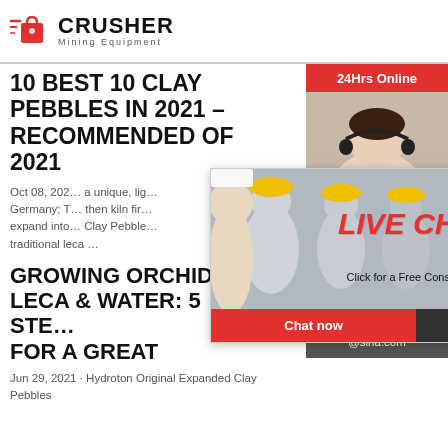[Figure (logo): Crusher Mining Equipment logo with red shopping bag icon and bold CRUSHER text]
10 BEST 10 CLAY PEBBLES IN 2021 – RECOMMENDED OF 2021
Oct 08, 202… a unique, lig… Germany; T… then kiln fir… expand into… Clay Pebble… traditional leca …
GROWING ORCHIDS IN LECA & WATER: 5 STE… FOR A GREAT
Jun 29, 2021 · Hydroton Original Expanded Clay Pebbles
[Figure (screenshot): Live Chat popup overlay with workers in hard hats background, LIVE CHAT heading in red italic, Click for a Free Consultation text, Chat now and Chat later buttons]
[Figure (photo): Right sidebar showing 24Hrs Online banner, customer service representative photo, Need questions & suggestion panel with Chat Now button, Enquiry link, and limingjlmofen@sina.com email]